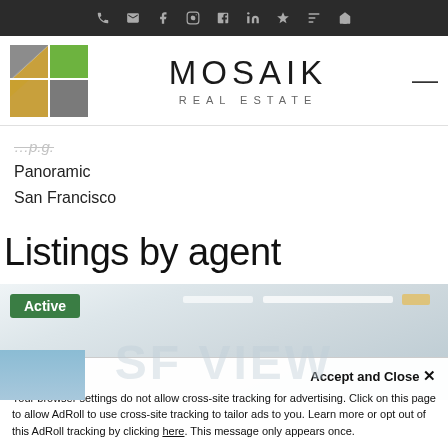Mosaik Real Estate – top navigation bar with phone, email, facebook, instagram, youtube, linkedin, zillow, yelp, home icons
[Figure (logo): Mosaik Real Estate logo: geometric M/K shapes in grey, gold, and green on the left; MOSAIK in large thin letters and REAL ESTATE below in spaced caps on the right; hamburger menu icon on far right]
Panoramic
San Francisco
Listings by agent
[Figure (photo): Interior photo of a modern property showing white ceiling with recessed lighting strips and track lights; sky visible through window at lower left; green 'Active' badge overlay at top-left]
Accept and Close ✕
Your browser settings do not allow cross-site tracking for advertising. Click on this page to allow AdRoll to use cross-site tracking to tailor ads to you. Learn more or opt out of this AdRoll tracking by clicking here. This message only appears once.